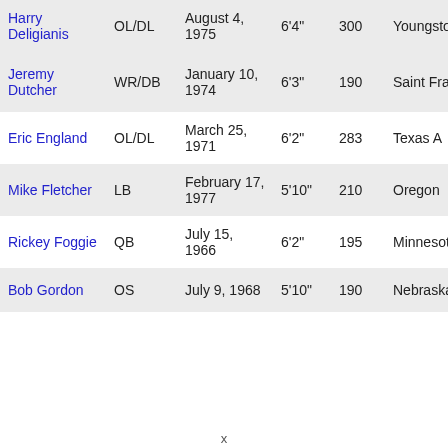| Name | Position | DOB | Height | Weight | School |
| --- | --- | --- | --- | --- | --- |
| Harry Deligianis | OL/DL | August 4, 1975 | 6'4" | 300 | Youngstown State |
| Jeremy Dutcher | WR/DB | January 10, 1974 | 6'3" | 190 | Saint Francis |
| Eric England | OL/DL | March 25, 1971 | 6'2" | 283 | Texas A |
| Mike Fletcher | LB | February 17, 1977 | 5'10" | 210 | Oregon |
| Rickey Foggie | QB | July 15, 1966 | 6'2" | 195 | Minnesota |
| Bob Gordon | OS | July 9, 1968 | 5'10" | 190 | Nebraska |
x